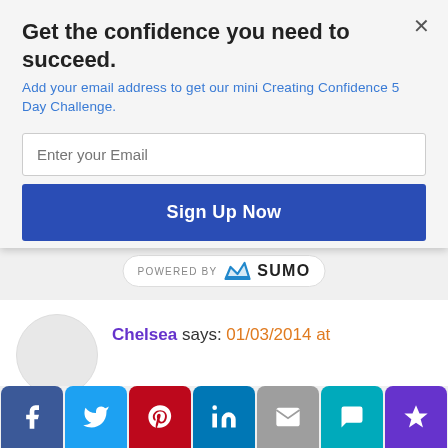Get the confidence you need to succeed.
Add your email address to get our mini Creating Confidence 5 Day Challenge.
Enter your Email
Sign Up Now
POWERED BY SUMO
Chelsea says: 01/03/2014 at
I really want to work on saving this year. I love this 52 weeks of saving because it literally seems like pennies you're saving and you end